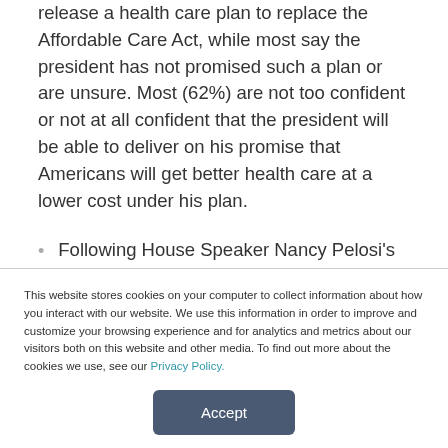release a health care plan to replace the Affordable Care Act, while most say the president has not promised such a plan or are unsure. Most (62%) are not too confident or not at all confident that the president will be able to deliver on his promise that Americans will get better health care at a lower cost under his plan.
Following House Speaker Nancy Pelosi's announcement of a formal impeachment
This website stores cookies on your computer to collect information about how you interact with our website. We use this information in order to improve and customize your browsing experience and for analytics and metrics about our visitors both on this website and other media. To find out more about the cookies we use, see our Privacy Policy.